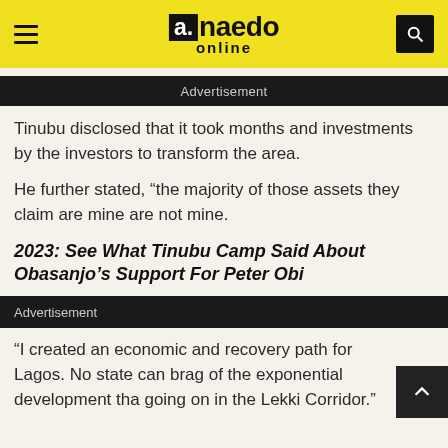a.naedo online
Advertisement
Tinubu disclosed that it took months and investments by the investors to transform the area.
He further stated, “the majority of those assets they claim are mine are not mine.
2023: See What Tinubu Camp Said About Obasanjo’s Support For Peter Obi
Advertisement
“I created an economic and recovery path for Lagos. No state can brag of the exponential development that going on in the Lekki Corridor.”